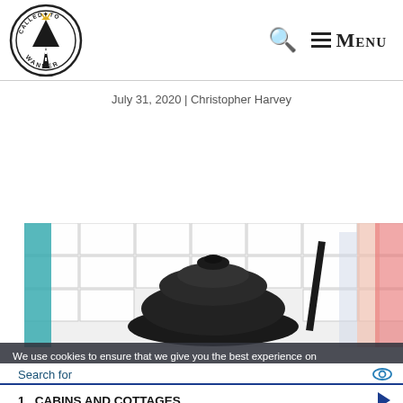[Figure (logo): Called to Wander circular logo with mountain, road, and sunrise imagery]
🔍  ≡ MENU
July 31, 2020 | Christopher Harvey
[Figure (photo): Close-up photo of black cast-iron cookware on a white subway tile surface with colorful items in background]
We use cookies to ensure that we give you the best experience on
Search for
1.  CABINS AND COTTAGES
2.  RV CAMPING SITES
Yahoo! Search | Sponsored